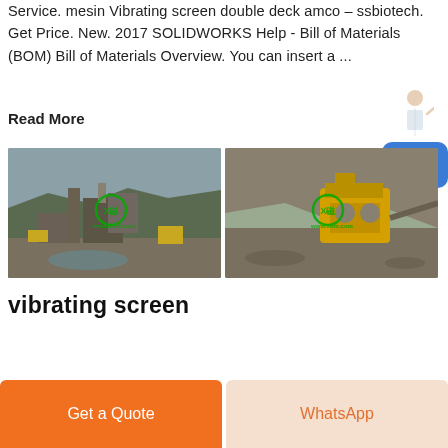Service. mesin Vibrating screen double deck amco – ssbiotech. Get Price. New. 2017 SOLIDWORKS Help - Bill of Materials (BOM) Bill of Materials Overview. You can insert a ...
Read More
[Figure (photo): Two industrial quarry/mining site photos side by side, each with a green watermark logo. Left: aerial view of a mining processing plant with machinery. Right: yellow crusher machine at a quarry site with rocky hillside.]
vibrating screen
Get a Quote
WhatsApp